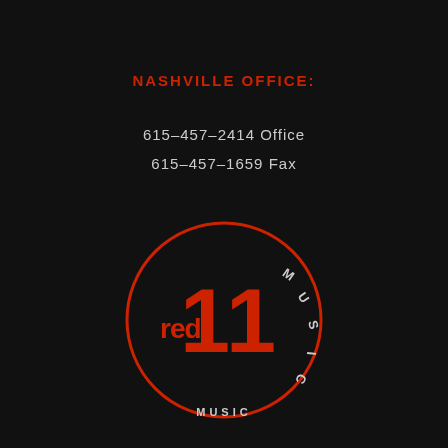NASHVILLE OFFICE:
615-457-2414 Office
615-457-1659 Fax
[Figure (logo): Red 11 Music logo: a red circle outline with 'red' in lowercase red text on the left, large red bold '11' in the center, and 'MUSIC' in white uppercase letters arranged along the right arc of the circle.]